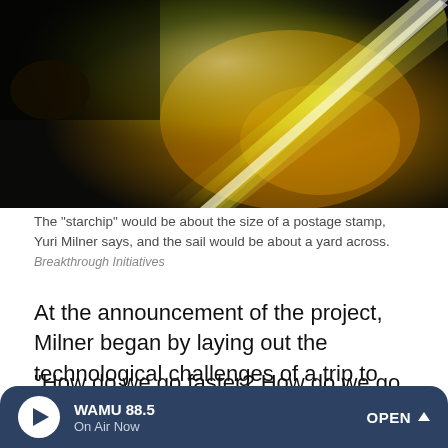[Figure (photo): Dark space image with bright yellow-green light streaks and glowing warm orange/gold hues, suggesting a laser sail or light beam concept for interstellar travel.]
The "starchip" would be about the size of a postage stamp, Yuri Milner says, and the sail would be about a yard across.
Breakthrough Initiatives
At the announcement of the project, Milner began by laying out the technological challenges of a trip to another star system.
"How do we go faster? How do we go further? How do we make this next leap?" he asked, before laying out the team's proposal for interstellar travel on a human time scale.
WAMU 88.5 On Air Now OPEN ^